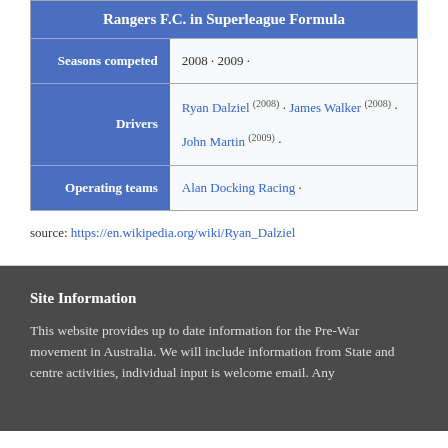| Rangers F.C. in Superleague Formula |
| --- |
| Seasons competed | 2008 · 2009 · |
| Drivers | Ryan Dalziel (2008) · James Walker (2008) · John Martin (2009) · |
| Operating teams | Alan Docking Racing · |
source: https://en.wikipedia.org/wiki/Ryan_Dalziel
Site Information
This website provides up to date information for the Pre-War movement in Australia. We will include information from State and centre activities, individual input is welcome email. Any